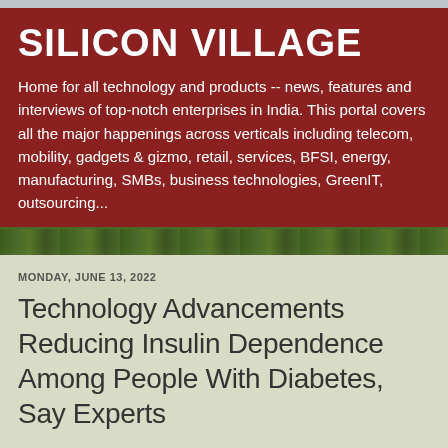SILICON VILLAGE
Home for all technology and products -- news, features and interviews of top-notch enterprises in India. This portal covers all the major happenings across verticals including telecom, mobility, gadgets & gizmo, retail, services, BFSI, energy, manufacturing, SMBs, business technologies, GreenIT, outsourcing...
MONDAY, JUNE 13, 2022
Technology Advancements Reducing Insulin Dependence Among People With Diabetes, Say Experts